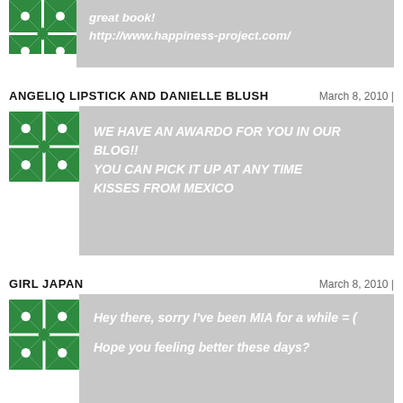[Figure (illustration): Green and white decorative geometric pattern avatar for first commenter (partial, top of page)]
great book!
http://www.happiness-project.com/
ANGELIQ LIPSTICK AND DANIELLE BLUSH
March 8, 2010 |
[Figure (illustration): Green and white decorative geometric pattern avatar for Angeliq Lipstick and Danielle Blush]
WE HAVE AN AWARDO FOR YOU IN OUR BLOG!!
YOU CAN PICK IT UP AT ANY TIME
KISSES FROM MEXICO
GIRL JAPAN
March 8, 2010 |
[Figure (illustration): Green and white decorative geometric pattern avatar for Girl Japan]
Hey there, sorry I've been MIA for a while = (

Hope you feeling better these days?